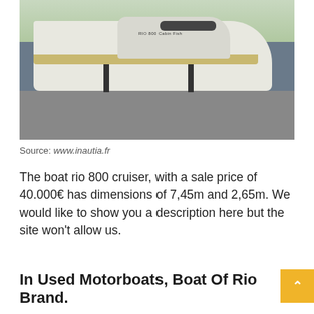[Figure (photo): A white motorboat (Rio 800 Cabin Fish) on a trailer/stand in an outdoor parking area with trees in background]
Source: www.inautia.fr
The boat rio 800 cruiser, with a sale price of 40.000€ has dimensions of 7,45m and 2,65m. We would like to show you a description here but the site won't allow us.
In Used Motorboats, Boat Of Rio Brand.